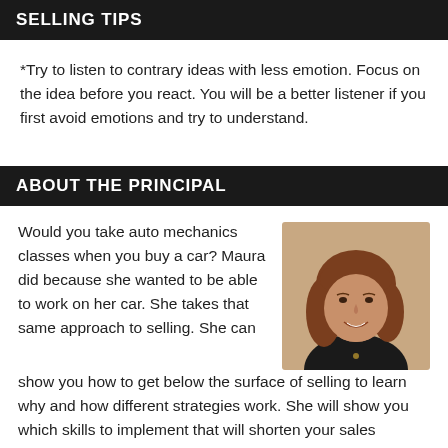SELLING TIPS
*Try to listen to contrary ideas with less emotion. Focus on the idea before you react. You will be a better listener if you first avoid emotions and try to understand.
ABOUT THE PRINCIPAL
[Figure (photo): Headshot photo of Maura, a woman with shoulder-length brown hair, smiling, wearing a dark top]
Would you take auto mechanics classes when you buy a car? Maura did because she wanted to be able to work on her car. She takes that same approach to selling. She can show you how to get below the surface of selling to learn why and how different strategies work. She will show you which skills to implement that will shorten your sales